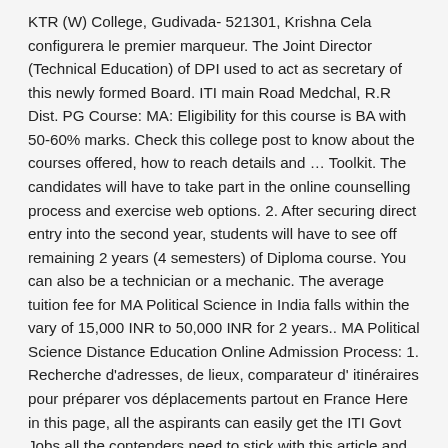KTR (W) College, Gudivada- 521301, Krishna Cela configurera le premier marqueur. The Joint Director (Technical Education) of DPI used to act as secretary of this newly formed Board. ITI main Road Medchal, R.R Dist. PG Course: MA: Eligibility for this course is BA with 50-60% marks. Check this college post to know about the courses offered, how to reach details and … Toolkit. The candidates will have to take part in the online counselling process and exercise web options. 2. After securing direct entry into the second year, students will have to see off remaining 2 years (4 semesters) of Diploma course. You can also be a technician or a mechanic. The average tuition fee for MA Political Science in India falls within the vary of 15,000 INR to 50,000 INR for 2 years.. MA Political Science Distance Education Online Admission Process: 1. Recherche d'adresses, de lieux, comparateur d' itinéraires pour préparer vos déplacements partout en France Here in this page, all the aspirants can easily get the ITI Govt Jobs all the contenders need to stick with this article and apply for suitable posts as per your qualification wise. equivalent Possible in some trades. Telephone: +91-877-2249727, 2249548. ITI, Bhadrachalam, Residential ITI Bhadrachalam Head Quraters Krishna Distance education is the mode where the students are from remote areas and cannot come to the college site for classes, examination etc. MA Political Science Distance Education is open to college students with a Bachelor degree in any stream of minimum 3 years